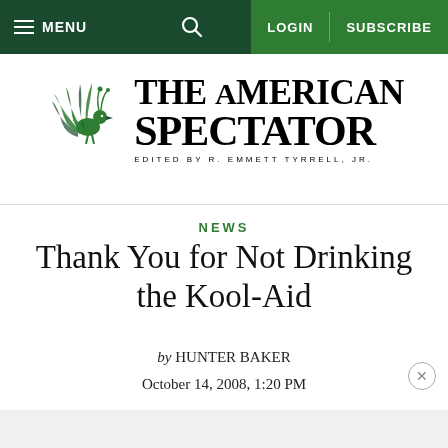MENU | (search) | LOGIN | SUBSCRIBE
[Figure (logo): The American Spectator logo with green bird illustration and text 'THE AMERICAN SPECTATOR — EDITED BY R. EMMETT TYRRELL, JR.']
NEWS
Thank You for Not Drinking the Kool-Aid
by HUNTER BAKER
October 14, 2008, 1:20 PM